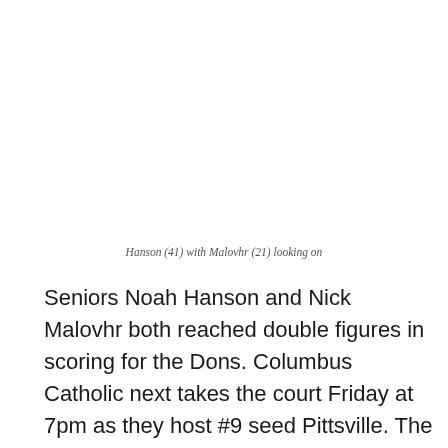Hanson (41) with Malovhr (21) looking on
Seniors Noah Hanson and Nick Malovhr both reached double figures in scoring for the Dons. Columbus Catholic next takes the court Friday at 7pm as they host #9 seed Pittsville. The Panthers took down the #8 seed Loyal Greyhounds on Tuesday night, 54-52.